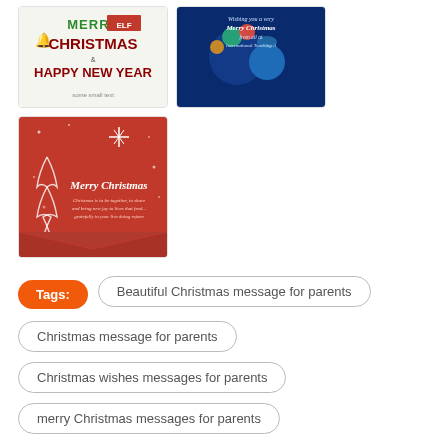[Figure (illustration): Christmas card with green and red text saying Merry Christmas and Happy New Year on white background]
[Figure (illustration): Blue Christmas card with decorations and text wishing Merry Christmas from International Teaching]
[Figure (illustration): Red Christmas card with white Christmas tree and text Merry Christmas with a short message]
Tags:
Beautiful Christmas message for parents
Christmas message for parents
Christmas wishes messages for parents
merry Christmas messages for parents